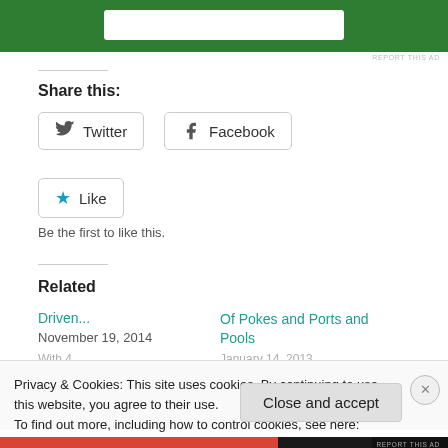[Figure (other): Green advertisement banner with white search bar element inside]
REPORT THIS AD
Share this:
[Figure (other): Twitter share button with bird icon]
[Figure (other): Facebook share button with Facebook icon]
[Figure (other): Like button with star icon]
Be the first to like this.
Related
Driven...
November 19, 2014
Of Pokes and Ports and Pools
Privacy & Cookies: This site uses cookies. By continuing to use this website, you agree to their use.
To find out more, including how to control cookies, see here: Cookie Policy
Close and accept